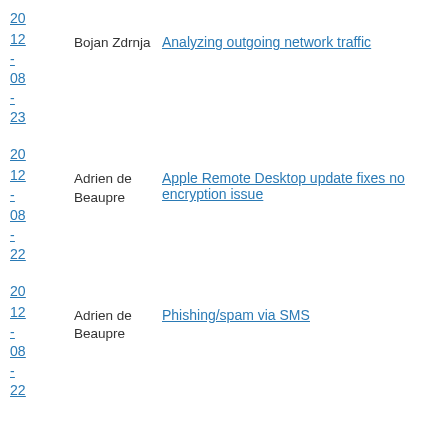20
12
-
08 Bojan Zdrnja Analyzing outgoing network traffic
-
23
20
12
-
08 Adrien de Beaupre Apple Remote Desktop update fixes no encryption issue
-
22
20
12
-
08 Adrien de Beaupre Phishing/spam via SMS
-
22